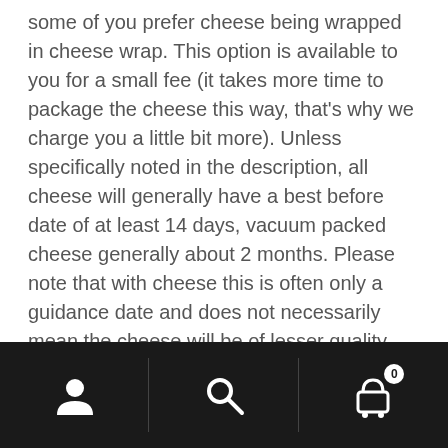some of you prefer cheese being wrapped in cheese wrap. This option is available to you for a small fee (it takes more time to package the cheese this way, that's why we charge you a little bit more). Unless specifically noted in the description, all cheese will generally have a best before date of at least 14 days, vacuum packed cheese generally about 2 months. Please note that with cheese this is often only a guidance date and does not necessarily mean the cheese will be of lesser quality beyond that date. In fact many soft(er) cheeses are best kept close to or until after that date for maximum ripeness.
[Figure (other): Mobile navigation bottom bar with three sections: user/account icon on left, search icon in center, shopping cart icon with badge showing 0 on right. Dark background.]